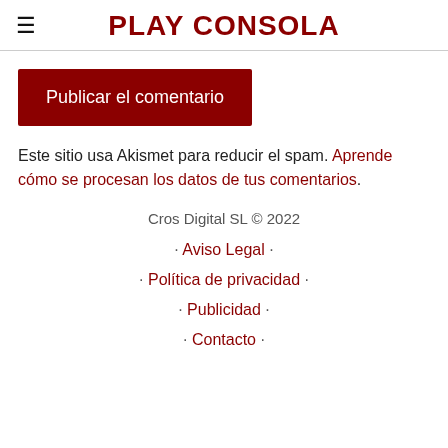PLAY CONSOLA
Publicar el comentario
Este sitio usa Akismet para reducir el spam. Aprende cómo se procesan los datos de tus comentarios.
Cros Digital SL © 2022
· Aviso Legal ·
· Política de privacidad ·
· Publicidad ·
· Contacto ·